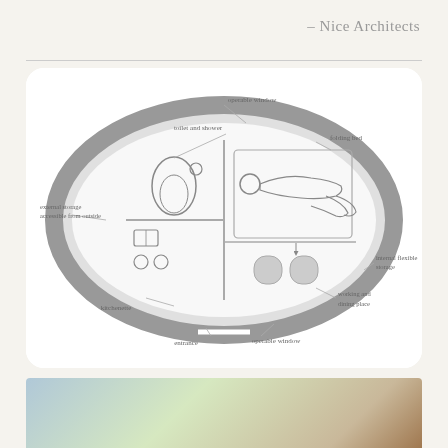– Nice Architects
[Figure (engineering-diagram): Floor plan of an oval/elliptical dwelling pod (Ecocapsule or similar) showing interior layout from above. Labeled components include: operable window (top center), folding bed (top right), internal flexible storage (right), working and dining place (bottom right), operable window (bottom center), entrance (bottom center-left), kitchenette (bottom left), external storage accessible from outside (left), toilet and shower (top left). The plan shows a thick elliptical wall outline with interior rooms divided by partitions.]
[Figure (photo): Photograph showing an interior or exterior view of the pod structure with a tree visible against a blue sky, warm wooden tones visible on the right.]